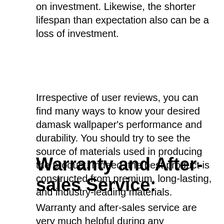on investment. Likewise, the shorter lifespan than expectation also can be a loss of investment.
Irrespective of user reviews, you can find many ways to know your desired damask wallpaper's performance and durability. You should try to see the source of materials used in producing the product. Indeed, the best product is constructed from premium, long-lasting, and industry-leading materials.
Warranty and After-sales Service:
Warranty and after-sales service are very much helpful during any emergencies. We suggest you read the terms and conditions of